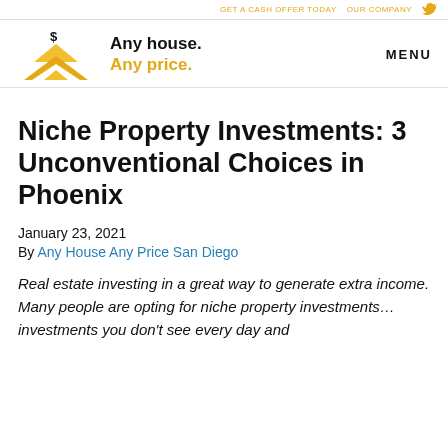Any house. Any price. — MENU
Niche Property Investments: 3 Unconventional Choices in Phoenix
January 23, 2021
By Any House Any Price San Diego
Real estate investing in a great way to generate extra income. Many people are opting for niche property investments… investments you don't see every day and